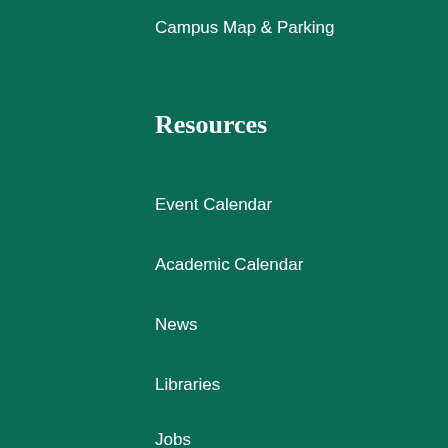Campus Map & Parking
Resources
Event Calendar
Academic Calendar
News
Libraries
Jobs
Website Feedback Form
Locations
Athens
Chillicothe